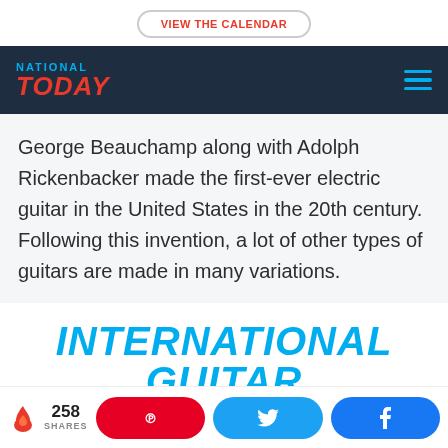VIEW THE CALENDAR
[Figure (logo): National Today logo with navigation bar on dark navy background, showing 'NATIONAL TODAY' logo in cyan and red with hamburger menu icon in cyan]
George Beauchamp along with Adolph Rickenbacker made the first-ever electric guitar in the United States in the 20th century. Following this invention, a lot of other types of guitars are made in many variations.
INTERNATIONAL GUITAR
258 SHARES  [Pinterest share button]  [Twitter share button]  [Facebook share button]